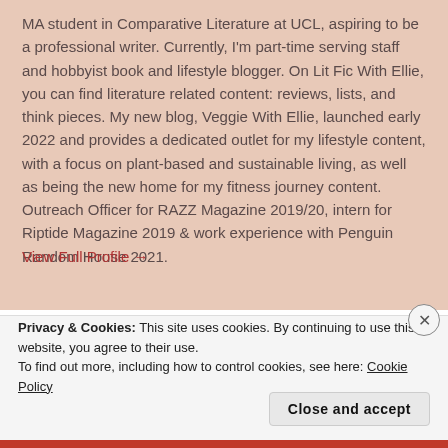MA student in Comparative Literature at UCL, aspiring to be a professional writer. Currently, I'm part-time serving staff and hobbyist book and lifestyle blogger. On Lit Fic With Ellie, you can find literature related content: reviews, lists, and think pieces. My new blog, Veggie With Ellie, launched early 2022 and provides a dedicated outlet for my lifestyle content, with a focus on plant-based and sustainable living, as well as being the new home for my fitness journey content. Outreach Officer for RAZZ Magazine 2019/20, intern for Riptide Magazine 2019 & work experience with Penguin Random House 2021.
View Full Profile →
Privacy & Cookies: This site uses cookies. By continuing to use this website, you agree to their use.
To find out more, including how to control cookies, see here: Cookie Policy
Close and accept